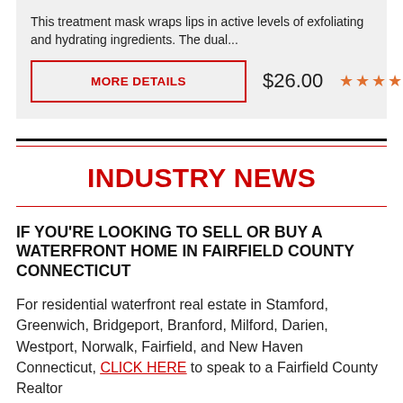This treatment mask wraps lips in active levels of exfoliating and hydrating ingredients. The dual...
MORE DETAILS
$26.00 ★★★★★
INDUSTRY NEWS
IF YOU'RE LOOKING TO SELL OR BUY A WATERFRONT HOME IN FAIRFIELD COUNTY CONNECTICUT
For residential waterfront real estate in Stamford, Greenwich, Bridgeport, Branford, Milford, Darien, Westport, Norwalk, Fairfield, and New Haven Connecticut, CLICK HERE to speak to a Fairfield County Realtor